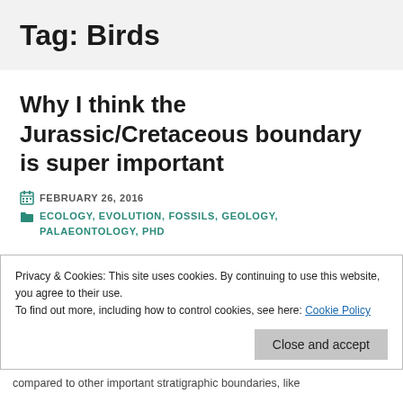Tag: Birds
Why I think the Jurassic/Cretaceous boundary is super important
FEBRUARY 26, 2016
ECOLOGY, EVOLUTION, FOSSILS, GEOLOGY, PALAEONTOLOGY, PHD
Privacy & Cookies: This site uses cookies. By continuing to use this website, you agree to their use.
To find out more, including how to control cookies, see here: Cookie Policy
Close and accept
compared to other important stratigraphic boundaries, like